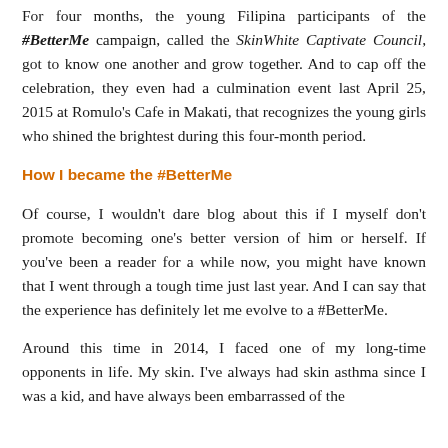For four months, the young Filipina participants of the #BetterMe campaign, called the SkinWhite Captivate Council, got to know one another and grow together. And to cap off the celebration, they even had a culmination event last April 25, 2015 at Romulo's Cafe in Makati, that recognizes the young girls who shined the brightest during this four-month period.
How I became the #BetterMe
Of course, I wouldn't dare blog about this if I myself don't promote becoming one's better version of him or herself. If you've been a reader for a while now, you might have known that I went through a tough time just last year. And I can say that the experience has definitely let me evolve to a #BetterMe.
Around this time in 2014, I faced one of my long-time opponents in life. My skin. I've always had skin asthma since I was a kid, and have always been embarrassed of the